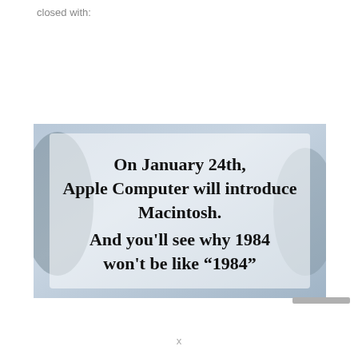closed with:
[Figure (photo): A photograph/screenshot showing a blurred background with an overlaid white/light panel containing text: 'On January 24th, Apple Computer will introduce Macintosh. And you'll see why 1984 won't be like "1984"']